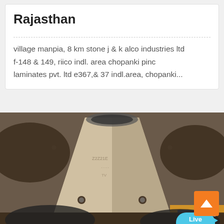Rajasthan
village manpia, 8 km stone j & k alco industries ltd f-148 & 149, riico indl. area chopanki pinc laminates pvt. ltd e367,& 37 indl.area, chopanki...
[Figure (photo): Close-up photo of a metal industrial component (appears to be a cone-shaped or funnel-shaped cast metal part with bolt holes, held by hands). A Live Chat bubble overlay is visible in the top-right of the photo area, along with an orange scroll-to-top button.]